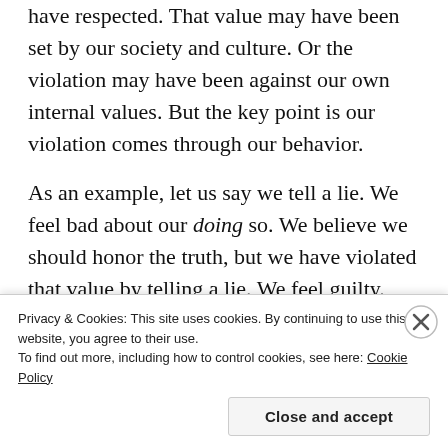have respected. That value may have been set by our society and culture. Or the violation may have been against our own internal values. But the key point is our violation comes through our behavior.
As an example, let us say we tell a lie. We feel bad about our doing so. We believe we should honor the truth, but we have violated that value by telling a lie. We feel guilty.
Advertisements
[Figure (other): Advertisement box showing 'Professionally designed sites' with a smiley face icon]
Privacy & Cookies: This site uses cookies. By continuing to use this website, you agree to their use. To find out more, including how to control cookies, see here: Cookie Policy
Close and accept